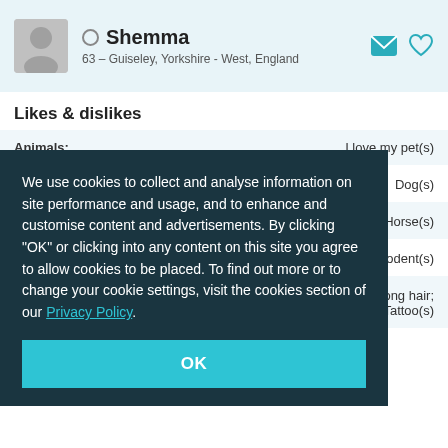Shemma — 63 – Guiseley, Yorkshire - West, England
Likes & dislikes
|  |  |
| --- | --- |
| Animals: | I love my pet(s) |
|  | Dog(s) |
|  | ); Fish; Horse(s) |
|  | ile(s); Rodent(s) |
|  | otica; Long hair; ipping; Tattoo(s) |
We use cookies to collect and analyse information on site performance and usage, and to enhance and customise content and advertisements. By clicking "OK" or clicking into any content on this site you agree to allow cookies to be placed. To find out more or to change your cookie settings, visit the cookies section of our Privacy Policy.
The deep stuff